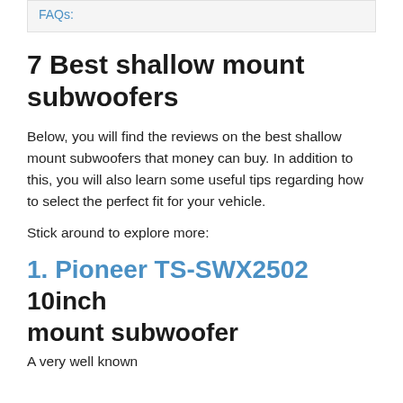FAQs:
7 Best shallow mount subwoofers
Below, you will find the reviews on the best shallow mount subwoofers that money can buy. In addition to this, you will also learn some useful tips regarding how to select the perfect fit for your vehicle.
Stick around to explore more:
1. Pioneer TS-SWX2502 10inch mount subwoofer
A very well known...